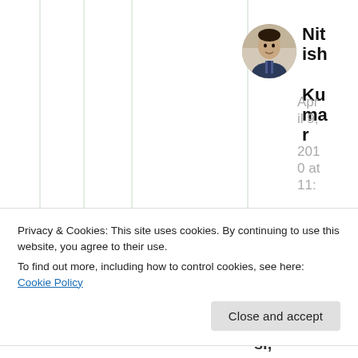[Figure (photo): Circular profile photo of a man in a suit]
Nitish Kumar
April 9, 2010 at 11:
Privacy & Cookies: This site uses cookies. By continuing to use this website, you agree to their use.
To find out more, including how to control cookies, see here: Cookie Policy
Close and accept
si,